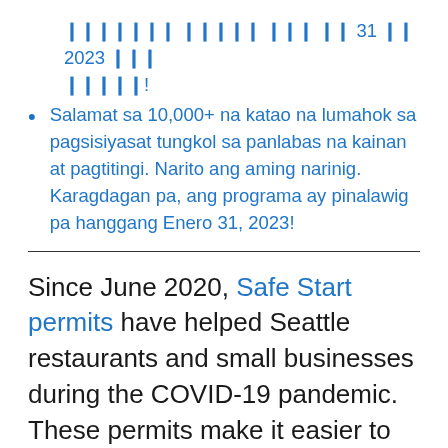??????? ????? ??? ?? 31 ?? 2023 ??? ?????!
Salamat sa 10,000+ na katao na lumahok sa pagsisiyasat tungkol sa panlabas na kainan at pagtitingi. Narito ang aming narinig. Karagdagan pa, ang programa ay pinalawig pa hanggang Enero 31, 2023!
Since June 2020, Safe Start permits have helped Seattle restaurants and small businesses during the COVID-19 pandemic. These permits make it easier to open outdoor spaces for dining, shopping, or other uses. Our Safe Start permits have helped...